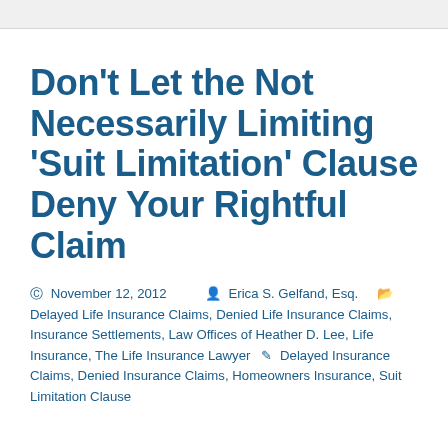Don't Let the Not Necessarily Limiting 'Suit Limitation' Clause Deny Your Rightful Claim
November 12, 2012   Erica S. Gelfand, Esq.   Delayed Life Insurance Claims, Denied Life Insurance Claims, Insurance Settlements, Law Offices of Heather D. Lee, Life Insurance, The Life Insurance Lawyer   Delayed Insurance Claims, Denied Insurance Claims, Homeowners Insurance, Suit Limitation Clause